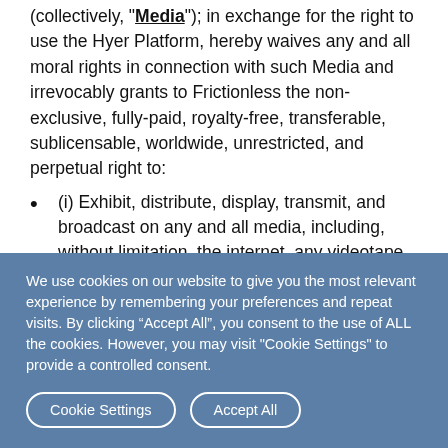(collectively, "Media"); in exchange for the right to use the Hyer Platform, hereby waives any and all moral rights in connection with such Media and irrevocably grants to Frictionless the non-exclusive, fully-paid, royalty-free, transferable, sublicensable, worldwide, unrestricted, and perpetual right to:
(i) Exhibit, distribute, display, transmit, and broadcast on any and all media, including, without limitation, the internet, any videotape, film, recording or photograph that such User provides to Frictionless or that Frictionless takes of Tasker,
We use cookies on our website to give you the most relevant experience by remembering your preferences and repeat visits. By clicking “Accept All”, you consent to the use of ALL the cookies. However, you may visit "Cookie Settings" to provide a controlled consent.